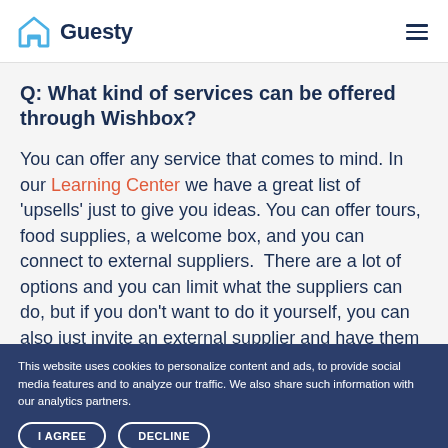Guesty
Q: What kind of services can be offered through Wishbox?
You can offer any service that comes to mind. In our Learning Center we have a great list of 'upsells' just to give you ideas. You can offer tours, food supplies, a welcome box, and you can connect to external suppliers.  There are a lot of options and you can limit what the suppliers can do, but if you don't want to do it yourself, you can also just invite an external supplier and have them upload their services and very easily offer more local services to your guests.
This website uses cookies to personalize content and ads, to provide social media features and to analyze our traffic. We also share such information with our analytics partners. I AGREE DECLINE